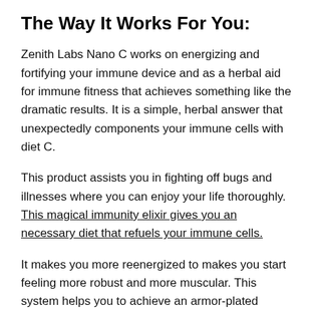The Way It Works For You:
Zenith Labs Nano C works on energizing and fortifying your immune device and as a herbal aid for immune fitness that achieves something like the dramatic results. It is a simple, herbal answer that unexpectedly components your immune cells with diet C.
This product assists you in fighting off bugs and illnesses where you can enjoy your life thoroughly. This magical immunity elixir gives you an necessary diet that refuels your immune cells.
It makes you more reenergized to makes you start feeling more robust and more muscular. This system helps you to achieve an armor-plated immune system on maximizing your protection against the nasty bacteria and viruses.
Nano C fits into your life when compared to other immune